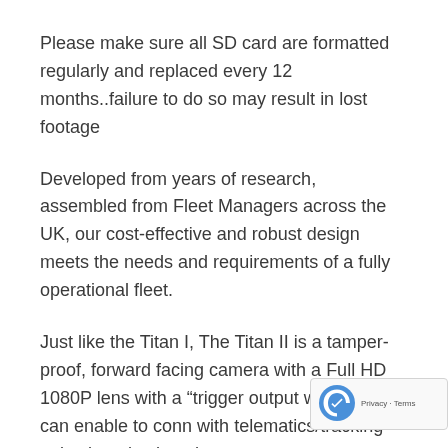Please make sure all SD card are formatted regularly and replaced every 12 months..failure to do so may result in lost footage
Developed from years of research, assembled from Fleet Managers across the UK, our cost-effective and robust design meets the needs and requirements of a fully operational fleet.
Just like the Titan I, The Titan II is a tamper-proof, forward facing camera with a Full HD 1080P lens with a “trigger output wire” which can enable to conn with telematics/tracking units, but also has the